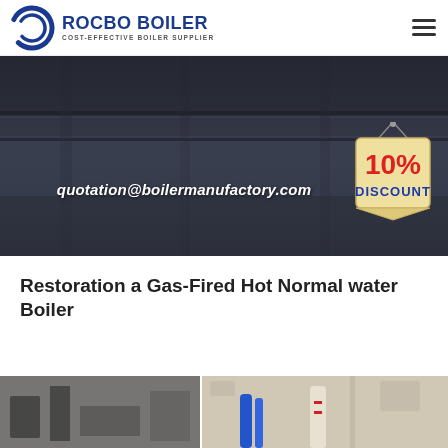ROCBO BOILER — COST-EFFECTIVE BOILER SUPPLIER
[Figure (photo): Hero banner with dark industrial background showing boiler facility interior. White bold italic text reads 'quotation@boilermanufactory.com'. A hanging discount tag badge showing '10% DISCOUNT' in red and blue on yellow/beige background is visible in the lower right of the banner.]
Restoration a Gas-Fired Hot Normal water Boiler
[Figure (photo): Bottom strip showing two side-by-side photos of boiler equipment: left side shows dark industrial components, right side shows beige/cream colored piping with blue and red pipes/tubes.]